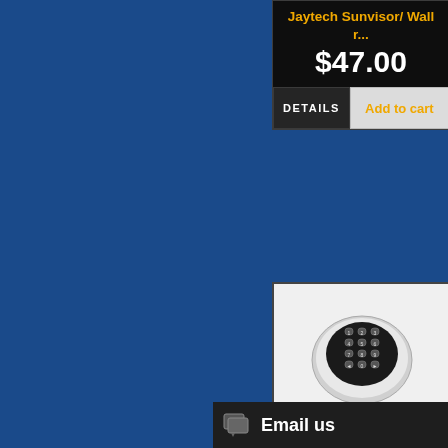Jaytech Sunvisor/ Wall r...
$47.00
DETAILS
Add to cart
[Figure (photo): A wireless entry keypad device — oval shaped white shell with a black oval face containing numbered buttons 0-9 and arrow buttons, resembling a door keypad.]
Jaytech Wireless Entry S...
$88.00
DETAILS
Email us